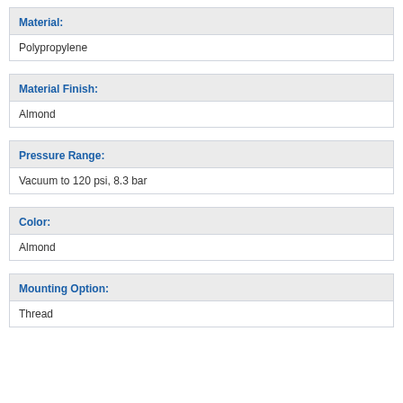| Material |
| --- |
| Polypropylene |
| Material Finish |
| --- |
| Almond |
| Pressure Range |
| --- |
| Vacuum to 120 psi, 8.3 bar |
| Color |
| --- |
| Almond |
| Mounting Option |
| --- |
| Thread |